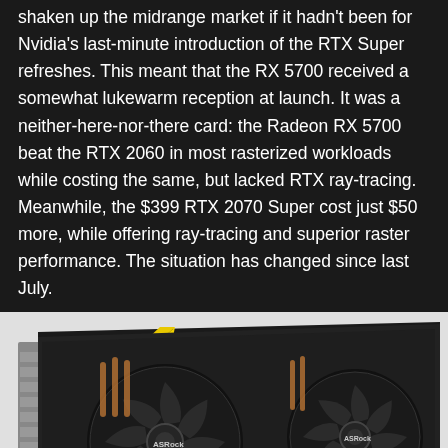shaken up the midrange market if it hadn't been for Nvidia's last-minute introduction of the RTX Super refreshes. This meant that the RX 5700 received a somewhat lukewarm reception at launch. It was a neither-here-nor-there card: the Radeon RX 5700 beat the RTX 2060 in most rasterized workloads while costing the same, but lacked RTX ray-tracing. Meanwhile, the $399 RTX 2070 Super cost just $50 more, while offering ray-tracing and superior raster performance. The situation has changed since last July.
[Figure (photo): Photo of an ASRock dual-fan graphics card (Radeon RX 5700) with black and yellow accents, showing two large cooling fans with copper heat pipes visible, set against a white background.]